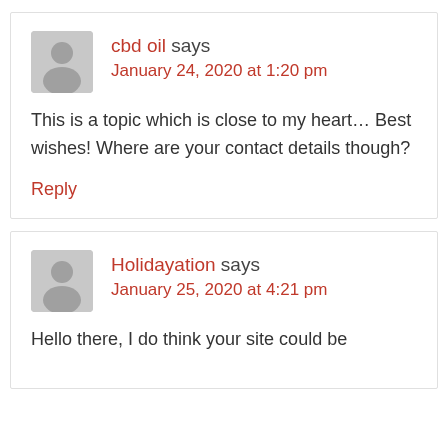cbd oil says
January 24, 2020 at 1:20 pm
This is a topic which is close to my heart… Best wishes! Where are your contact details though?
Reply
Holidayation says
January 25, 2020 at 4:21 pm
Hello there, I do think your site could be